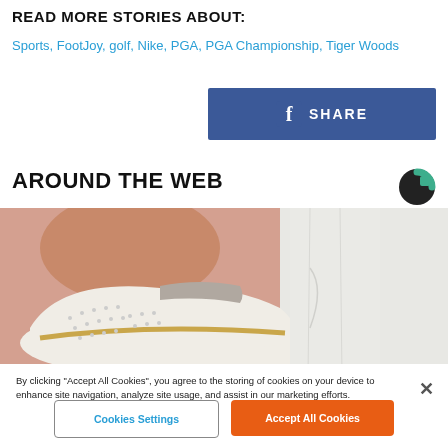READ MORE STORIES ABOUT:
Sports, FootJoy, golf, Nike, PGA, PGA Championship, Tiger Woods
[Figure (other): Facebook Share button — blue rectangle with f icon and SHARE text]
AROUND THE WEB
[Figure (logo): Outbrain logo — circular icon in dark grey and green]
[Figure (photo): Close-up photo of a white perforated shoe with gold trim worn by a person in white pants against a pink background]
By clicking “Accept All Cookies”, you agree to the storing of cookies on your device to enhance site navigation, analyze site usage, and assist in our marketing efforts.
Cookies Settings
Accept All Cookies